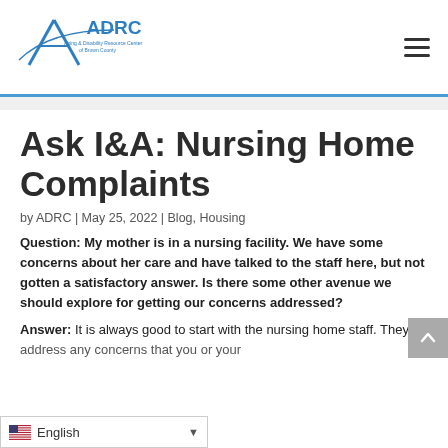[Figure (logo): ADRC Aging & Disability Resource Center of Brown County logo in blue]
Ask I&A: Nursing Home Complaints
by ADRC | May 25, 2022 | Blog, Housing
Question: My mother is in a nursing facility. We have some concerns about her care and have talked to the staff here, but not gotten a satisfactory answer. Is there some other avenue we should explore for getting our concerns addressed?
Answer: It is always good to start with the nursing home staff. They address any concerns that you or your